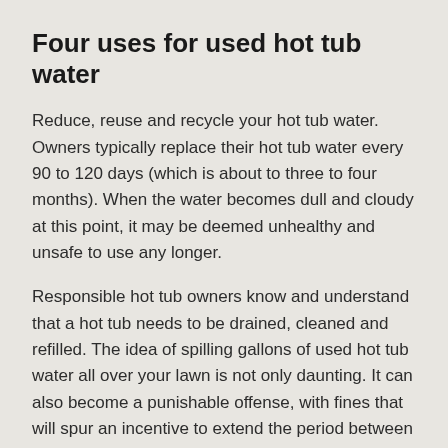Four uses for used hot tub water
Reduce, reuse and recycle your hot tub water. Owners typically replace their hot tub water every 90 to 120 days (which is about to three to four months). When the water becomes dull and cloudy at this point, it may be deemed unhealthy and unsafe to use any longer.
Responsible hot tub owners know and understand that a hot tub needs to be drained, cleaned and refilled. The idea of spilling gallons of used hot tub water all over your lawn is not only daunting. It can also become a punishable offense, with fines that will spur an incentive to extend the period between hot tub water changes.
Here are the four ways to recycle or re-purpose hot